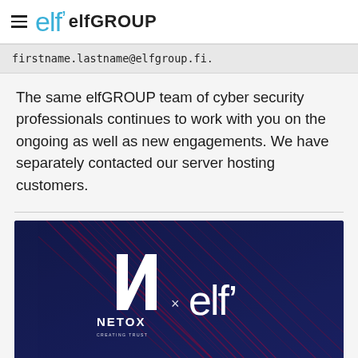elfGROUP
firstname.lastname@elfgroup.fi.
The same elfGROUP team of cyber security professionals continues to work with you on the ongoing as well as new engagements. We have separately contacted our server hosting customers.
[Figure (illustration): Dark navy background with red diagonal light streaks showing NETOX × elf logos in white]